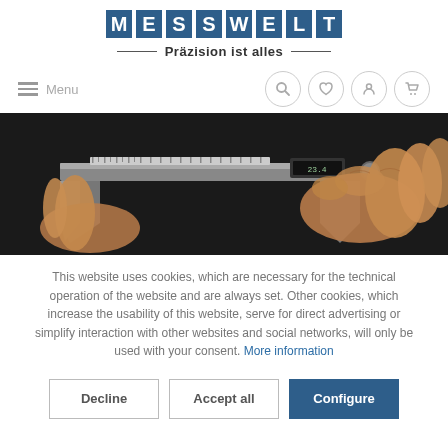[Figure (logo): MESSWELT logo with blue tiled letters]
Präzision ist alles
Menu
[Figure (photo): Close-up photo of hands holding a digital caliper measuring tool on dark background]
This website uses cookies, which are necessary for the technical operation of the website and are always set. Other cookies, which increase the usability of this website, serve for direct advertising or simplify interaction with other websites and social networks, will only be used with your consent. More information
Decline
Accept all
Configure